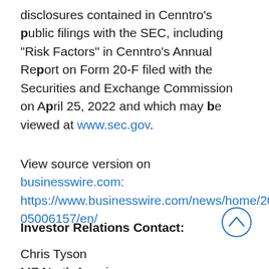disclosures contained in Cenntro's public filings with the SEC, including "Risk Factors" in Cenntro's Annual Report on Form 20-F filed with the Securities and Exchange Commission on April 25, 2022 and which may be viewed at www.sec.gov.
View source version on businesswire.com: https://www.businesswire.com/news/home/20220505006157/en/
Investor Relations Contact:
Chris Tyson
MZ North America